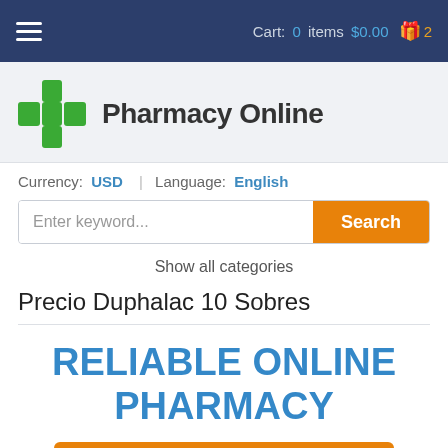Cart: 0 items $0.00  2
[Figure (logo): Green pharmacy cross logo with text 'Pharmacy Online']
Currency: USD | Language: English
Enter keyword...  Search
Show all categories
Precio Duphalac 10 Sobres
RELIABLE ONLINE PHARMACY
> Click here to order now